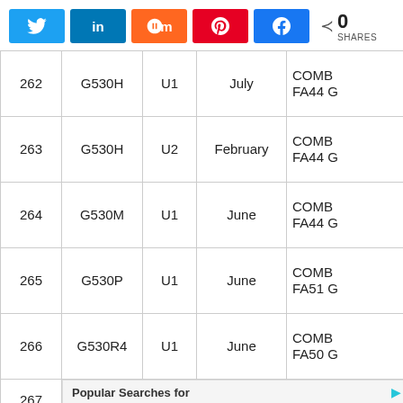[Figure (screenshot): Social share buttons: Twitter, LinkedIn, Mix, Pinterest, Facebook, and share count showing 0 SHARES]
| # | Model | Variant | Month | Details (partial) |
| --- | --- | --- | --- | --- |
| 262 | G530H | U1 | July | COMB FA44 G... |
| 263 | G530H | U2 | February | COMB FA44 G... |
| 264 | G530M | U1 | June | COMB FA44 G... |
| 265 | G530P | U1 | June | COMB FA51 G... |
| 266 | G530R4 | U1 | June | COMB FA50 G... |
| 267 | (ad overlay) |  |  | COMB FA51 G... |
[Figure (screenshot): Yahoo sponsored ad overlay: Popular Searches for — 1. Newest Mobile Phone Sale Deals, 2. Used Mobile Homes For Sale]